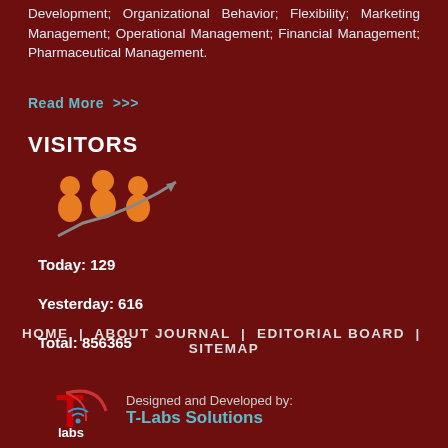Development; Organizational Behavior; Flexibility; Marketing Management; Operational Management; Financial Management; Pharmaceutical Management.
Read More >>>
VISITORS
[Figure (infographic): Visitors icon showing three orange people figures with a rising arrow trend line]
Today: 129
Yesterday: 616
Total: 856365
HOME | ABOUT JOURNAL | EDITORIAL BOARD | SITEMAP
Designed and Developed by: T-Labs Solutions